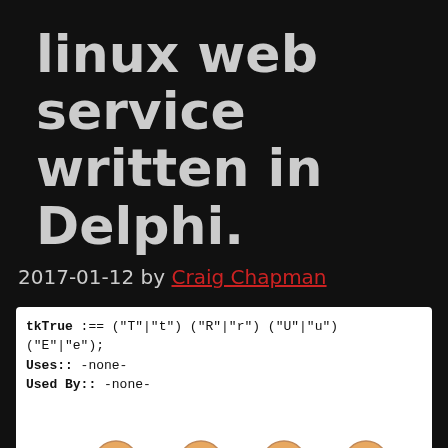linux web service written in Delphi.
2017-01-12 by Craig Chapman
[Figure (other): Railroad diagram showing tkTrue token definition. Code block: tkTrue :== ("T"|"t") ("R"|"r") ("U"|"u") ("E"|"e"); Uses:: -none- Used By:: -none-. Below is a railroad diagram with circles labeled T, R, U, E on top row and t, r, u, e on bottom row connected by lines and arrows.]
Several years ago, I wrote a simple command line tool for parsing EBNF format text (ISO 14977) and translating them into